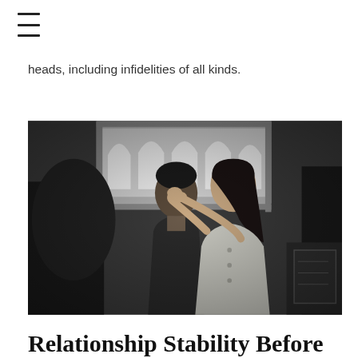☰
heads, including infidelities of all kinds.
[Figure (photo): Black and white photo of a couple sitting on a train. A woman in a white/light sweater faces a man and holds his face with both hands in an intimate gesture. Train seats and a large arched window with a rainy exterior are visible in the background.]
Relationship Stability Before